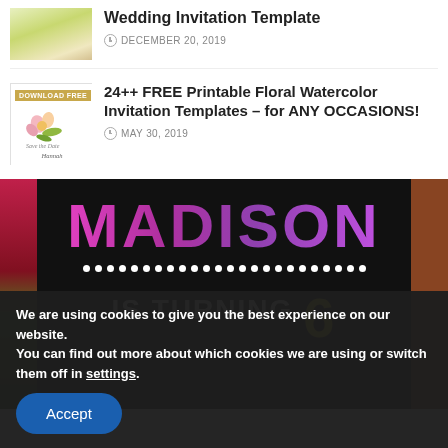[Figure (illustration): Cropped thumbnail of a wedding invitation template with gold/green floral decorative design]
Wedding Invitation Template
DECEMBER 20, 2019
[Figure (illustration): Thumbnail with 'Download Free' gold badge and a floral watercolor Save the Date invitation for Hannah]
24++ FREE Printable Floral Watercolor Invitation Templates – for ANY OCCASIONS!
MAY 30, 2019
[Figure (photo): Birthday party invitation banner showing 'MADISON IS TURNING 6' in bright pink/purple and yellow letters on a black background, with floral side panels]
We are using cookies to give you the best experience on our website.
You can find out more about which cookies we are using or switch them off in settings.
Accept